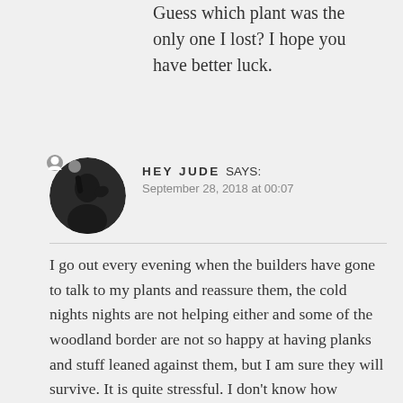Guess which plant was the only one I lost? I hope you have better luck.
HEYJUDE says:
September 28, 2018 at 00:07

I go out every evening when the builders have gone to talk to my plants and reassure them, the cold nights nights are not helping either and some of the woodland border are not so happy at having planks and stuff leaned against them, but I am sure they will survive. It is quite stressful. I don't know how